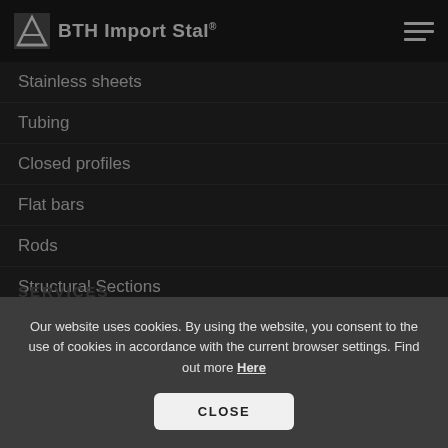[Figure (logo): BTH Import Stal logo with stylized icon and bold text]
Stainless sheets
Tubing
Closed profiles
Flat bars
Rods
Structural Sections
Fixture
SERVICES
Laser cutting
Our website uses cookies. By using the website, you consent to the use of cookies in accordance with the current browser settings. Find out more Here
CLOSE